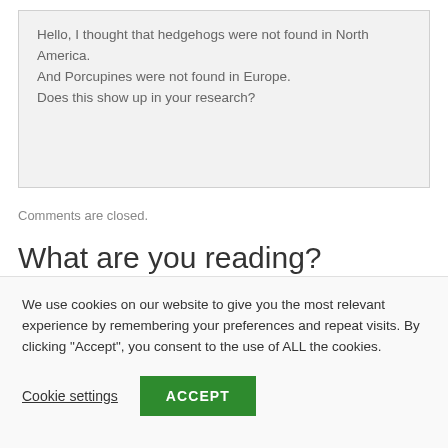Hello, I thought that hedgehogs were not found in North America.
And Porcupines were not found in Europe.
Does this show up in your research?
Comments are closed.
What are you reading?
We use cookies on our website to give you the most relevant experience by remembering your preferences and repeat visits. By clicking "Accept", you consent to the use of ALL the cookies.
Cookie settings  ACCEPT